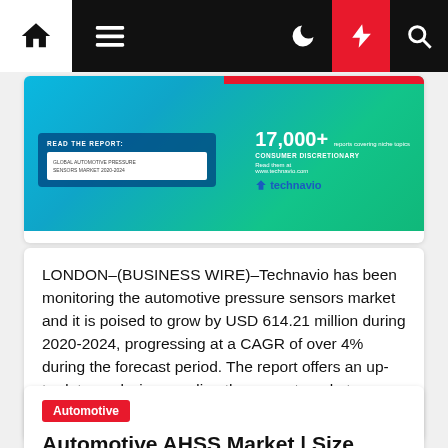Navigation bar with home, menu, moon, bolt, search icons
[Figure (infographic): Technavio report banner for Global Automotive Pressure Sensors Market 2020-2024, showing 17,000+ reports covering niche topics, Consumer Discretionary category, with technavio logo]
LONDON–(BUSINESS WIRE)–Technavio has been monitoring the automotive pressure sensors market and it is poised to grow by USD 614.21 million during 2020-2024, progressing at a CAGR of over 4% during the forecast period. The report offers an up-to-date analysis regarding the current market scenario, latest trends and drivers, and the […]
Automotive
Automotive AHSS Market | Size,